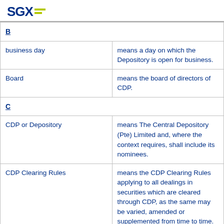SGX
| B |  |
| business day | means a day on which the Depository is open for business. |
| Board | means the board of directors of CDP. |
| C |  |
| CDP or Depository | means The Central Depository (Pte) Limited and, where the context requires, shall include its nominees. |
| CDP Clearing Rules | means the CDP Clearing Rules applying to all dealings in securities which are cleared through CDP, as the same may be varied, amended or supplemented from time to time. |